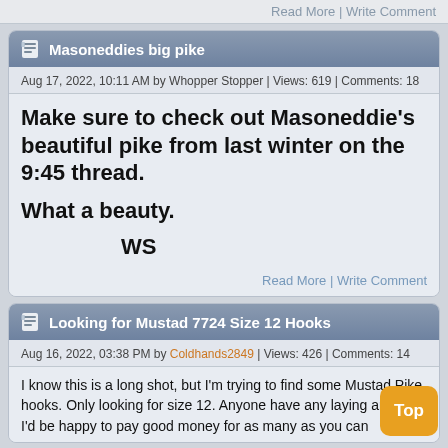Read More | Write Comment
Masoneddies big pike
Aug 17, 2022, 10:11 AM by Whopper Stopper | Views: 619 | Comments: 18
Make sure to check out Masoneddie's beautiful pike from last winter on the 9:45 thread.

What a beauty.

          WS
Read More | Write Comment
Looking for Mustad 7724 Size 12 Hooks
Aug 16, 2022, 03:38 PM by Coldhands2849 | Views: 426 | Comments: 14
I know this is a long shot, but I'm trying to find some Mustad Pike hooks. Only looking for size 12. Anyone have any laying around? I'd be happy to pay good money for as many as you can